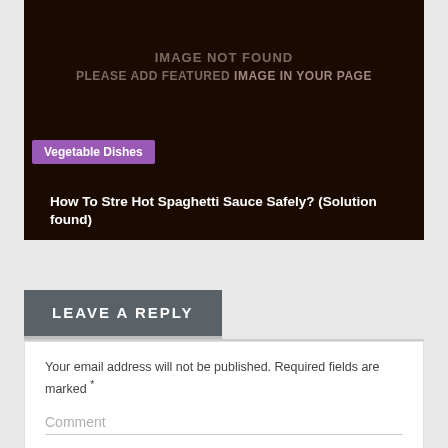[Figure (other): Dark brown image placeholder with text 'IMAGE NOT FOUND / PLEASE ADD FEATURED IMAGE IN YOUR PAGE']
Vegetable Dishes
How To Stre Hot Spaghetti Sauce Safely? (Solution found)
LEAVE A REPLY
Your email address will not be published. Required fields are marked *
Comment